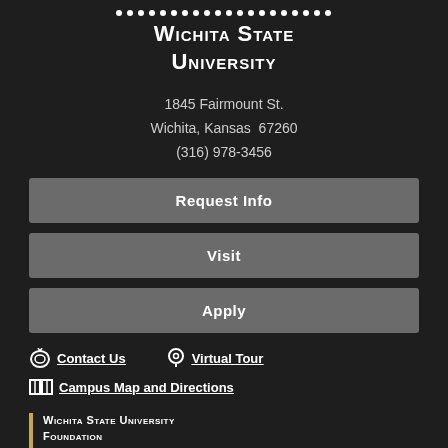[Figure (logo): Wichita State University logo with dotted line separator]
Wichita State University
1845 Fairmount St.
Wichita, Kansas  67260
(316) 978-3456
Request Info
Visit
Apply
Contact Us
Virtual Tour
Campus Map and Directions
Wichita State University Foundation